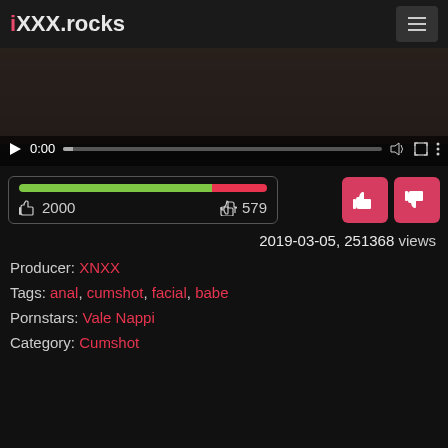iXXX.rocks
[Figure (screenshot): Video player thumbnail showing a dark scene with play controls, time 0:00, volume, fullscreen, and menu icons, with a progress bar at the bottom.]
👍 2000   👎 579
2019-03-05, 251368 views
Producer: XNXX
Tags: anal, cumshot, facial, babe
Pornstars: Vale Nappi
Category: Cumshot